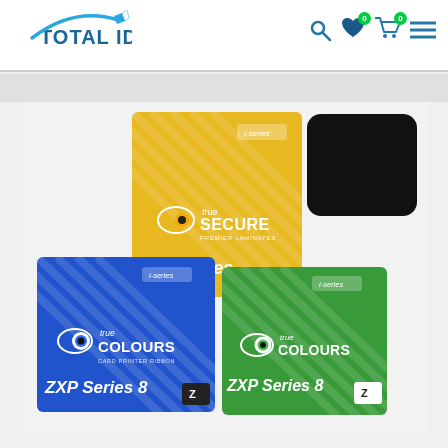Total ID - website header with logo, search, wishlist, cart and menu icons
[Figure (photo): Product photo showing three Zebra ZXP Series 8 card printer ribbon/laminate boxes: one yellow/gold box labeled 'true SECURE Premier Laminates ZXP Series', one blue box labeled 'true COLOURS Card Printer Ribbon ZXP Series 8', one green box labeled 'true COLOURS ZXP Series 8'. A black rounded-square color swatch is shown in the upper right of the image area.]